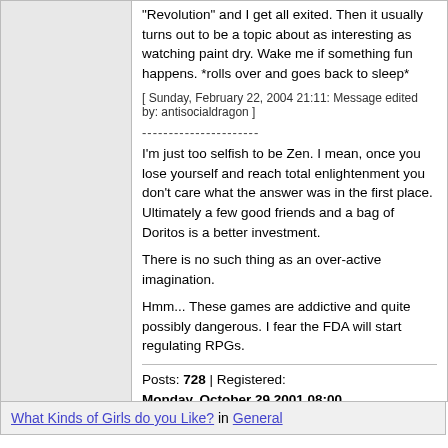"Revolution" and I get all exited. Then it usually turns out to be a topic about as interesting as watching paint dry. Wake me if something fun happens. *rolls over and goes back to sleep*
[ Sunday, February 22, 2004 21:11: Message edited by: antisocialdragon ]
----------------------
I'm just too selfish to be Zen. I mean, once you lose yourself and reach total enlightenment you don't care what the answer was in the first place. Ultimately a few good friends and a bag of Doritos is a better investment.
There is no such thing as an over-active imagination.
Hmm... These games are addictive and quite possibly dangerous. I fear the FDA will start regulating RPGs.
Posts: 728 | Registered: Monday, October 29 2001 08:00
What Kinds of Girls do you Like? in General